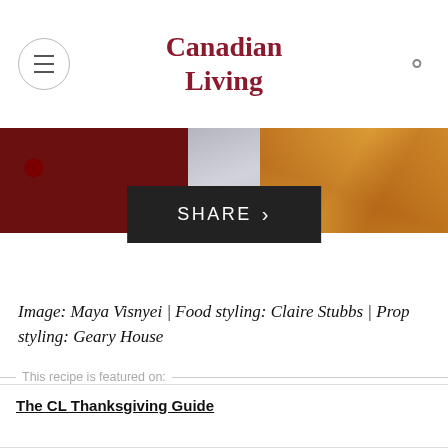Canadian Living
[Figure (photo): Food photography strip showing cranberry/red berry dish on left, grey plate in middle, and golden roasted dish on right, with a black SHARE button overlay]
Image: Maya Visnyei | Food styling: Claire Stubbs | Prop styling: Geary House
This recipe is featured on:
The CL Thanksgiving Guide